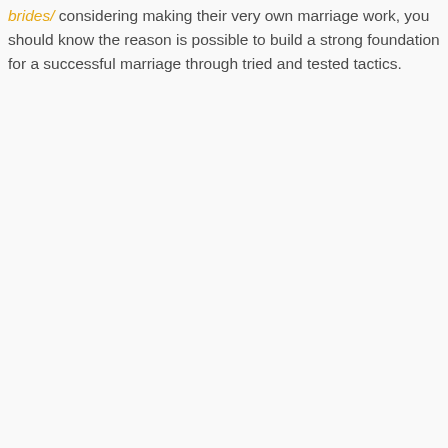brides/ considering making their very own marriage work, you should know the reason is possible to build a strong foundation for a successful marriage through tried and tested tactics.